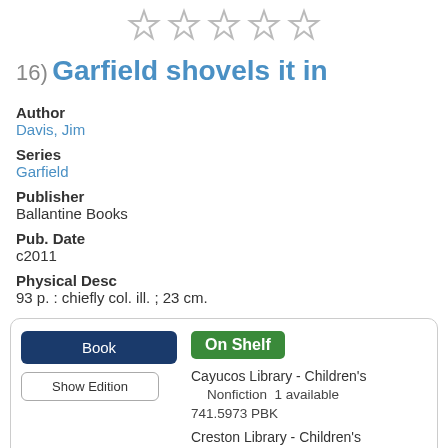[Figure (illustration): Five empty star rating icons in a row]
16) Garfield shovels it in
Author
Davis, Jim
Series
Garfield
Publisher
Ballantine Books
Pub. Date
c2011
Physical Desc
93 p. : chiefly col. ill. ; 23 cm.
| Book | On Shelf |
| Show Edition | Cayucos Library - Children's Nonfiction  1 available
741.5973 PBK |
|  | Creston Library - Children's Nonfiction  1 available
741.5973 PBK |
|  | Oceano Library - Children's Nonfiction  1 available
741.5973 PBK |
|  | Where is it? |